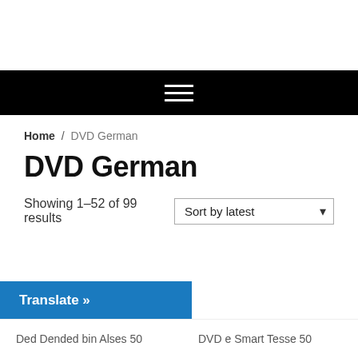Home / DVD German
DVD German
Showing 1–52 of 99 results
Sort by latest
Translate »